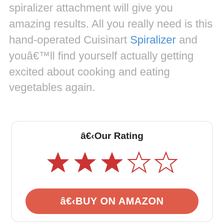spiralizer attachment will give you amazing results. All you really need is this hand-operated Cuisinart Spiralizer and you'll find yourself actually getting excited about cooking and eating vegetables again.
â€‹Our Rating
[Figure (other): 3 out of 5 stars rating — 3 filled red stars and 2 outline stars]
â€‹BUY ON AMAZON